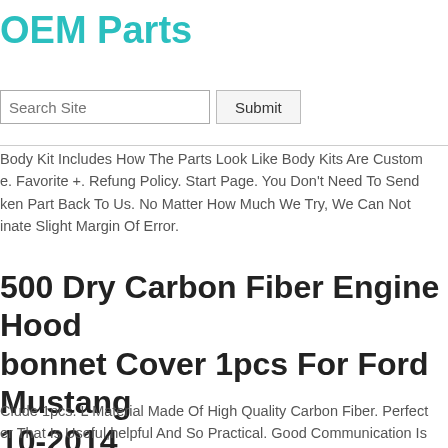OEM Parts
[Figure (screenshot): Search bar with text input 'Search Site' and a 'Submit' button]
Body Kit Includes How The Parts Look Like Body Kits Are Custom e. Favorite +. Refung Policy. Start Page. You Don't Need To Send ken Part Back To Us. No Matter How Much We Try, We Can Not inate Slight Margin Of Error.
500 Dry Carbon Fiber Engine Hood bonnet Cover 1pcs For Ford Mustang 10-2014
Clude 1pcs. L Material Made Of High Quality Carbon Fiber. Perfect er That Is Useful,helpful And So Practical. Good Communication Is ful For Both Of Us To Resolve Any Problems And Issues.